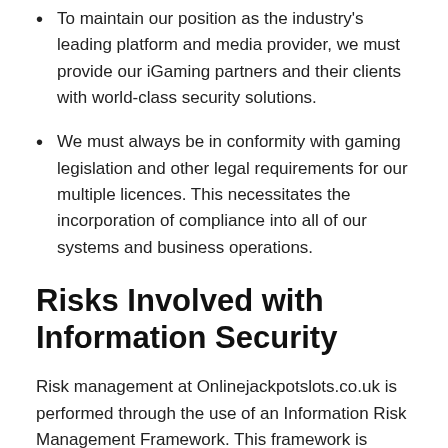To maintain our position as the industry's leading platform and media provider, we must provide our iGaming partners and their clients with world-class security solutions.
We must always be in conformity with gaming legislation and other legal requirements for our multiple licences. This necessitates the incorporation of compliance into all of our systems and business operations.
Risks Involved with Information Security
Risk management at Onlinejackpotslots.co.uk is performed through the use of an Information Risk Management Framework. This framework is intended to ensure the prompt identification and effective treatment of risks, enabling the organisation to implement a risk-based approach that is